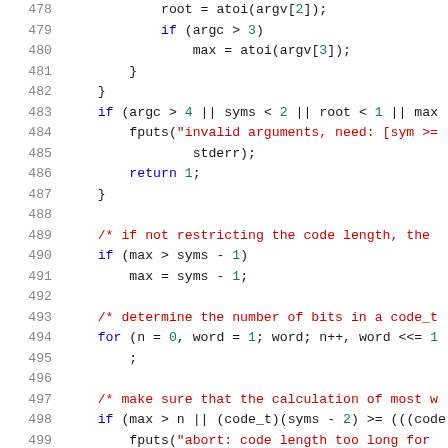[Figure (screenshot): Source code listing in C, lines 478-499, showing argument parsing and code length validation logic with syntax highlighting. Line numbers in gray on left, keywords in blue, strings in red, numbers in green.]